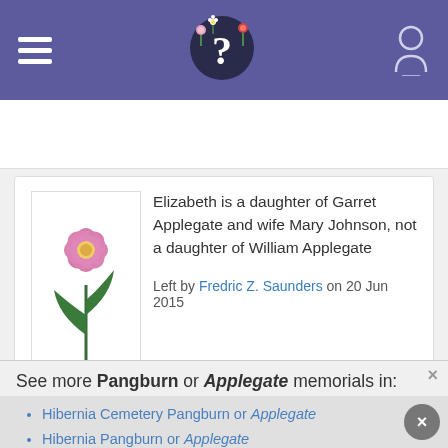FindAGrave header with hamburger menu, logo, and user icon
Elizabeth is a daughter of Garret Applegate and wife Mary Johnson, not a daughter of William Applegate
Left by Fredric Z. Saunders on 20 Jun 2015
Leave a Flower | View All
See more Pangburn or Applegate memorials in:
Hibernia Cemetery Pangburn or Applegate
Hibernia Pangburn or Applegate